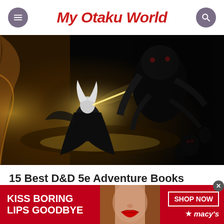My Otaku World
[Figure (illustration): Fantasy dark artwork showing an armored warrior with white hair and a glowing weapon facing a large dark creature, in a cave or dungeon setting with dark monstrous figures in the background]
15 Best D&D 5e Adventure Books
[Figure (photo): Advertisement banner: KISS BORING LIPS GOODBYE with a photo of a woman's face showing red lips, and SHOP NOW button with Macy's star logo]